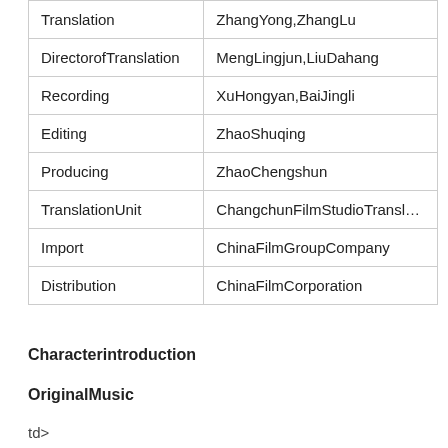| Role | Name |
| --- | --- |
| Translation | ZhangYong,ZhangLu |
| DirectorofTranslation | MengLingjun,LiuDahang |
| Recording | XuHongyan,BaiJingli |
| Editing | ZhaoShuqing |
| Producing | ZhaoChengshun |
| TranslationUnit | ChangchunFilmStudioTransla... |
| Import | ChinaFilmGroupCompany |
| Distribution | ChinaFilmCorporation |
Characterintroduction
OriginalMusic
td>